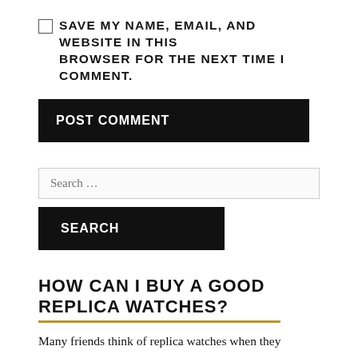SAVE MY NAME, EMAIL, AND WEBSITE IN THIS BROWSER FOR THE NEXT TIME I COMMENT.
POST COMMENT
Search …
SEARCH
HOW CAN I BUY A GOOD REPLICA WATCHES?
Many friends think of replica watches when they mention fake watches. Strictly speaking, the fake watch is watch replica, but it is not equal to fake MK watches. If you buy the right replica Michael kors watches, the quality can be completely equivalent to the genuine product, and it can reach the real quality. How